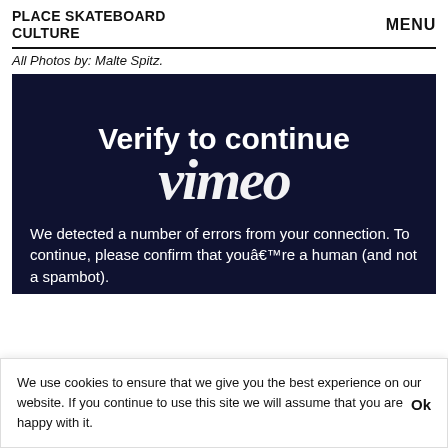PLACE SKATEBOARD CULTURE
MENU
All Photos by: Malte Spitz.
[Figure (screenshot): Vimeo 'Verify to continue' page embedded in dark navy background, with large text 'Verify to continue', Vimeo logo overlaid, body text about too many errors from connection, asking to confirm you are human (and not a spambot), with reCAPTCHA widget partially visible.]
We use cookies to ensure that we give you the best experience on our website. If you continue to use this site we will assume that you are happy with it.
Ok